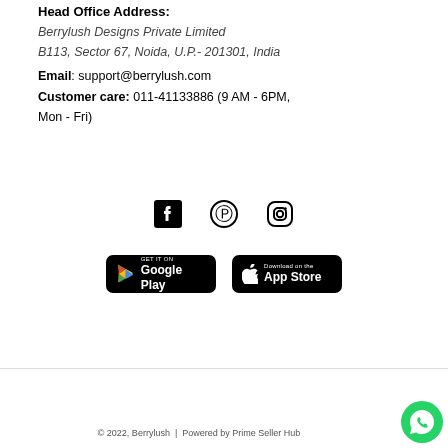Head Office Address:
Berrylush Designs Private Limited
B113, Sector 67, Noida, U.P.- 201301, India
Email: support@berrylush.com
Customer care: 011-41133886 (9 AM - 6PM, Mon - Fri)
[Figure (illustration): Social media icons: Facebook, Pinterest, Instagram]
[Figure (illustration): App download badges: Google Play and App Store]
© 2022, Berrylush | Powered by Prime Seller Hub